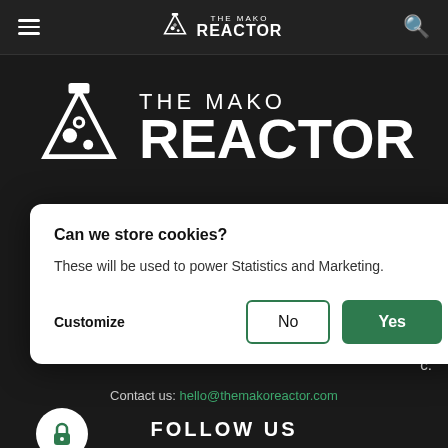THE MAKO REACTOR (navigation bar with hamburger menu, logo, and search icon)
[Figure (logo): The Mako Reactor logo — flask icon with THE MAKO REACTOR text, large white on dark background hero section]
Can we store cookies?
These will be used to power Statistics and Marketing.
Customize  No  Yes
news about try in India.
Contact us: hello@themakoreactor.com
FOLLOW US